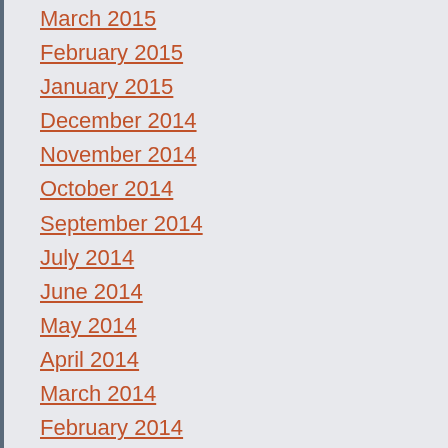March 2015
February 2015
January 2015
December 2014
November 2014
October 2014
September 2014
July 2014
June 2014
May 2014
April 2014
March 2014
February 2014
March 2011